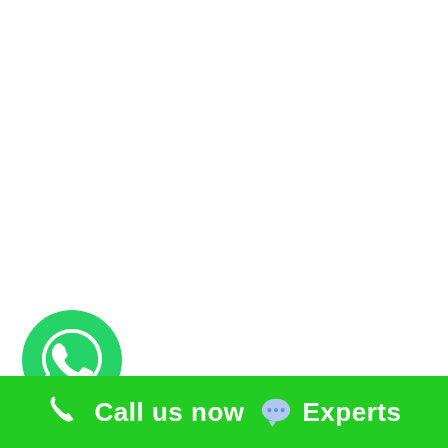[Figure (logo): WhatsApp icon - green circle with white phone handset in speech bubble]
Is Oracle Easy to Learn?
Call us now  Experts